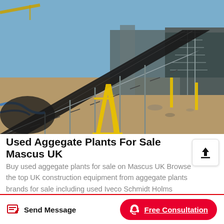[Figure (photo): Outdoor photograph of an industrial aggregate/conveyor plant setup at a construction or mining site. Large inclined conveyor belts, steel framework, yellow support structures, and buildings visible under a clear blue sky.]
Used Aggegate Plants For Sale Mascus UK
Buy used aggegate plants for sale on Mascus UK Browse the top UK construction equipment from aggegate plants brands for sale including used Iveco Schmidt Holms